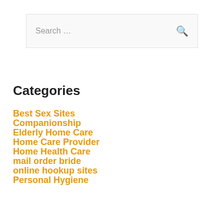[Figure (screenshot): Search bar with placeholder text 'Search ...' and a search icon on the right]
Categories
Best Sex Sites
Companionship
Elderly Home Care
Home Care Provider
Home Health Care
mail order bride
online hookup sites
Personal Hygiene